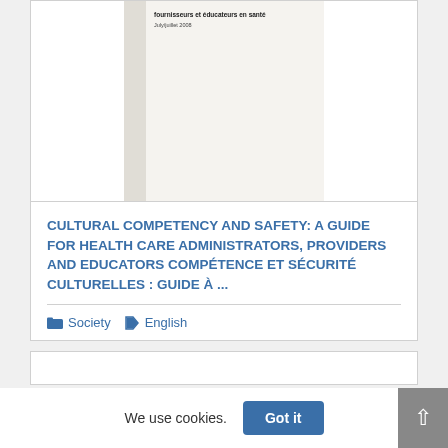[Figure (screenshot): Preview image of a document cover with text 'fournisseurs et éducateurs en santé' and 'July/juillet 2008', showing a beige/tan document page with a darker left sidebar strip.]
CULTURAL COMPETENCY AND SAFETY: A GUIDE FOR HEALTH CARE ADMINISTRATORS, PROVIDERS AND EDUCATORS COMPÉTENCE ET SÉCURITÉ CULTURELLES : GUIDE À ...
Society   English
We use cookies.